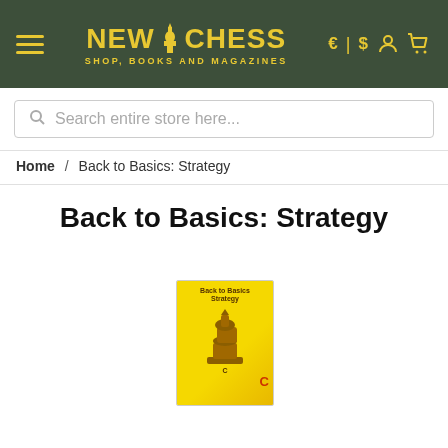NEW IN CHESS — SHOP, BOOKS AND MAGAZINES
Search entire store here...
Home / Back to Basics: Strategy
Back to Basics: Strategy
[Figure (photo): Book cover of 'Back to Basics: Strategy' with yellow background and chess piece illustration]